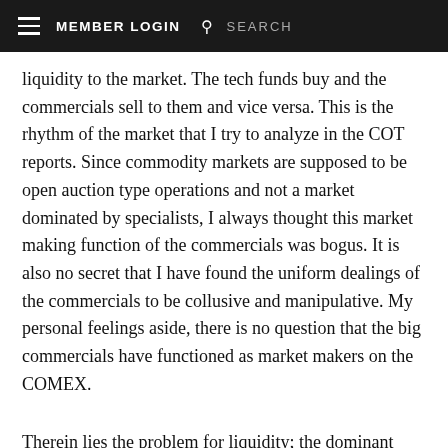≡  MEMBER LOGIN  🔍  SEARCH
liquidity to the market. The tech funds buy and the commercials sell to them and vice versa. This is the rhythm of the market that I try to analyze in the COT reports. Since commodity markets are supposed to be open auction type operations and not a market dominated by specialists, I always thought this market making function of the commercials was bogus. It is also no secret that I have found the uniform dealings of the commercials to be collusive and manipulative. My personal feelings aside, there is no question that the big commercials have functioned as market makers on the COMEX.
Therein lies the problem for liquidity; the dominant commercial market makers on the COMEX just got creamed in the gold price rally and are sharply restricting their activities. This is what is behind the great price